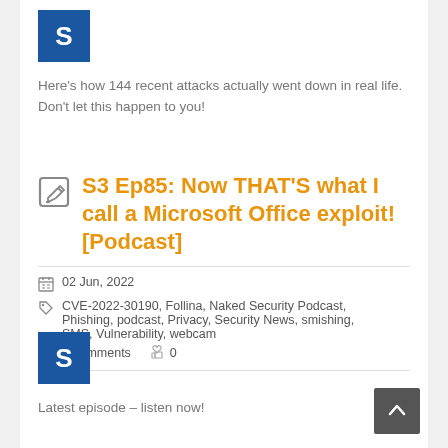[Figure (logo): Blue square logo with white letter S]
Here's how 144 recent attacks actually went down in real life. Don't let this happen to you!
S3 Ep85: Now THAT'S what I call a Microsoft Office exploit! [Podcast]
02 Jun, 2022
CVE-2022-30190, Follina, Naked Security Podcast, Phishing, podcast, Privacy, Security News, smishing, SMS, Vulnerability, webcam
0 Comments  0
[Figure (logo): Blue square logo with white letter S]
Latest episode – listen now!